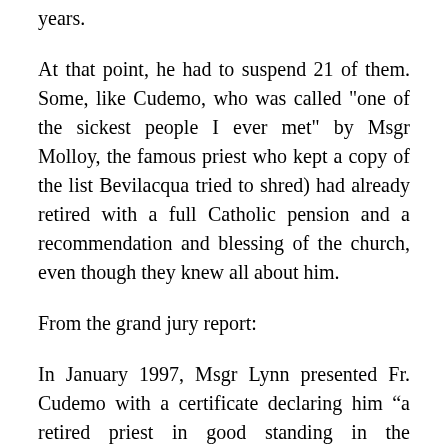years.
At that point, he had to suspend 21 of them. Some, like Cudemo, who was called "one of the sickest people I ever met" by Msgr Molloy, the famous priest who kept a copy of the list Bevilacqua tried to shred) had already retired with a full Catholic pension and a recommendation and blessing of the church, even though they knew all about him.
From the grand jury report:
In January 1997, Msgr Lynn presented Fr. Cudemo with a certificate declaring him “a retired priest in good standing in the Archdiocese of Philadelphia,” and asking that he be permitted to function as